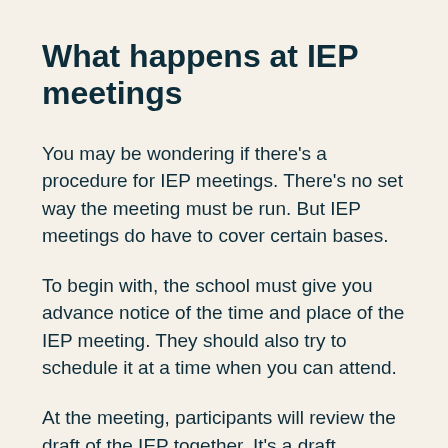What happens at IEP meetings
You may be wondering if there's a procedure for IEP meetings. There's no set way the meeting must be run. But IEP meetings do have to cover certain bases.
To begin with, the school must give you advance notice of the time and place of the IEP meeting. They should also try to schedule it at a time when you can attend.
At the meeting, participants will review the draft of the IEP together. It's a draft because